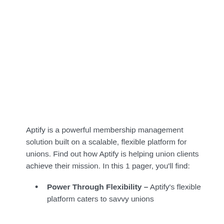Aptify is a powerful membership management solution built on a scalable, flexible platform for unions. Find out how Aptify is helping union clients achieve their mission. In this 1 pager, you'll find:
Power Through Flexibility – Aptify's flexible platform caters to savvy unions